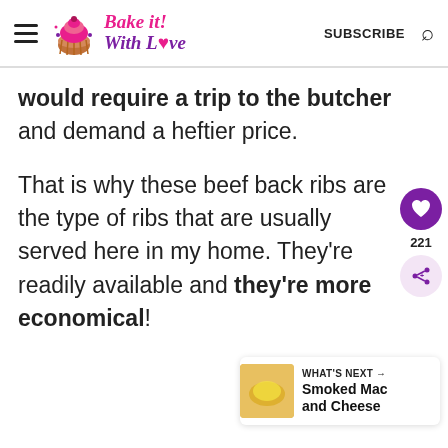Bake it With Love — SUBSCRIBE
would require a trip to the butcher and demand a heftier price.

That is why these beef back ribs are the type of ribs that are usually served here in my home. They're readily available and they're more economical!
[Figure (other): Social sharing sidebar with heart icon (221 likes) and share icon]
WHAT'S NEXT → Smoked Mac and Cheese